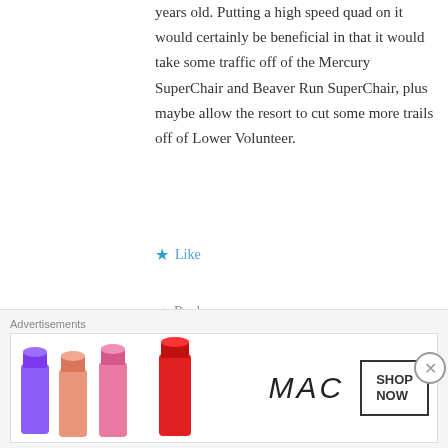years old. Putting a high speed quad on it would certainly be beneficial in that it would take some traffic off of the Mercury SuperChair and Beaver Run SuperChair, plus maybe allow the resort to cut some more trails off of Lower Volunteer.
★ Like
↩ Reply
MIKE B
October 17, 2018 / 12:11 pm
Suspect we'll see Forerunner converted to a HSS,
[Figure (advertisement): MAC cosmetics advertisement banner with lipsticks and SHOP NOW button]
Advertisements